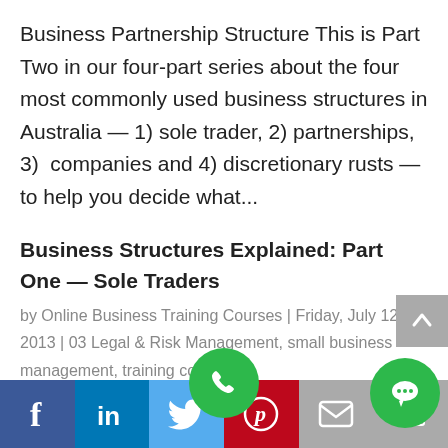Business Partnership Structure This is Part Two in our four-part series about the four most commonly used business structures in Australia — 1) sole trader, 2) partnerships, 3)  companies and 4) discretionary rusts — to help you decide what...
Business Structures Explained: Part One — Sole Traders
by Online Business Training Courses | Friday, July 12, 2013 | 03 Legal & Risk Management, small business management, training courses
f  in  [twitter]  [pinterest]  [email]  [print]